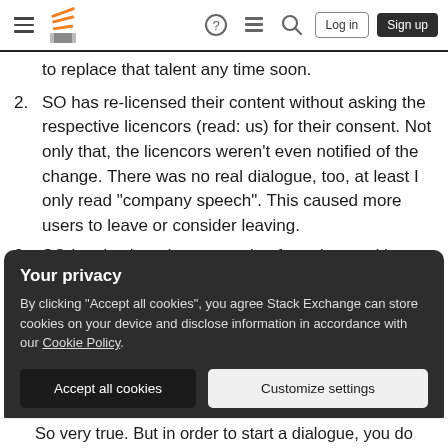Stack Exchange navigation bar with hamburger menu, logo, help, chat, search icons, Log in and Sign up buttons
to replace that talent any time soon.
SO has re-licensed their content without asking the respective licencors (read: us) for their consent. Not only that, the licencors weren't even notified of the change. There was no real dialogue, too, at least I only read "company speech". This caused more users to leave or consider leaving.
SO has instituted a new code of conduct and lost several high-level users over it. Again, I initially saw no real dialogue.
Your privacy
By clicking "Accept all cookies", you agree Stack Exchange can store cookies on your device and disclose information in accordance with our Cookie Policy.
Accept all cookies   Customize settings
So very true. But in order to start a dialogue, you do